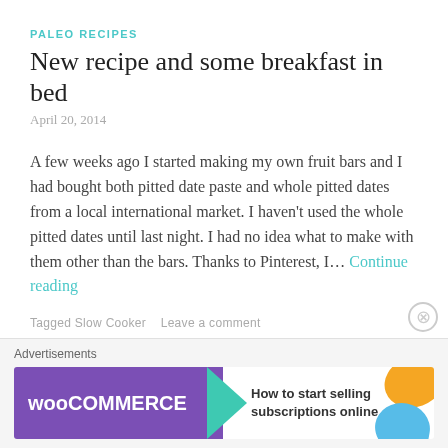PALEO RECIPES
New recipe and some breakfast in bed
April 20, 2014
A few weeks ago I started making my own fruit bars and I had bought both pitted date paste and whole pitted dates from a local international market. I haven't used the whole pitted dates until last night. I had no idea what to make with them other than the bars. Thanks to Pinterest, I… Continue reading
Tagged Slow Cooker   Leave a comment
[Figure (screenshot): WooCommerce advertisement banner: 'How to start selling subscriptions online']